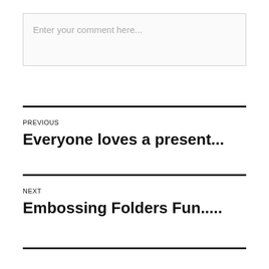Enter your comment here...
PREVIOUS
Everyone loves a present...
NEXT
Embossing Folders Fun.....